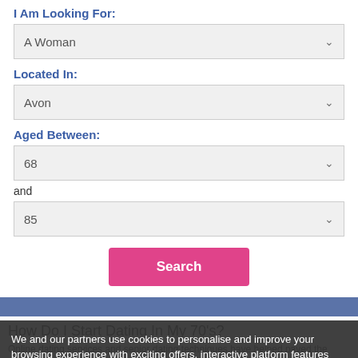I Am Looking For:
A Woman
Located In:
Avon
Aged Between:
68
and
85
Search
How Do I Start Dating In My 70's?
Online dating services and senior dating techniques have paved the easiest way get you dating again.
We and our partners use cookies to personalise and improve your browsing experience with exciting offers, interactive platform features and targeted advertising. Read our cookie policy.
If you do not agree then please withdraw from using this site.
Yes, I agree